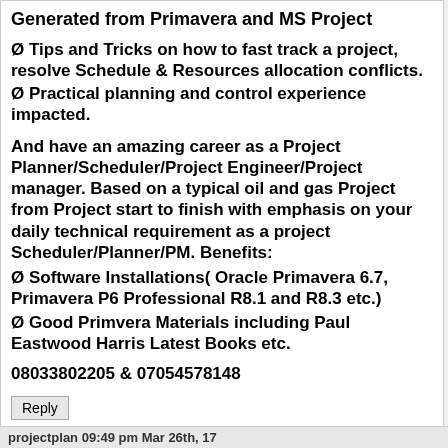Generated from Primavera and MS Project
Ø Tips and Tricks on how to fast track a project, resolve Schedule & Resources allocation conflicts.
Ø Practical planning and control experience impacted.
And have an amazing career as a Project Planner/Scheduler/Project Engineer/Project manager. Based on a typical oil and gas Project from Project start to finish with emphasis on your daily technical requirement as a project Scheduler/Planner/PM. Benefits:
Ø Software Installations( Oracle Primavera 6.7, Primavera P6 Professional R8.1 and R8.3 etc.)
Ø Good Primvera Materials including Paul Eastwood Harris Latest Books etc.
08033802205 & 07054578148
projectplan 09:49 pm Mar 26th, 17